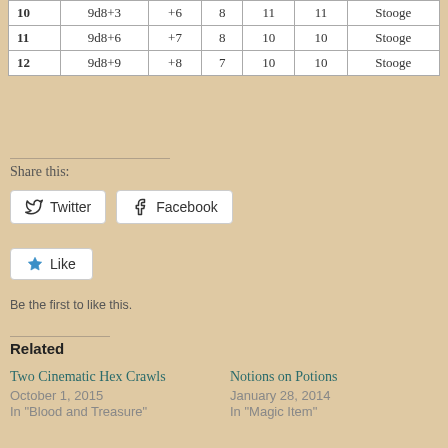| 10 | 9d8+3 | +6 | 8 | 11 | 11 | Stooge |
| 11 | 9d8+6 | +7 | 8 | 10 | 10 | Stooge |
| 12 | 9d8+9 | +8 | 7 | 10 | 10 | Stooge |
Share this:
Twitter
Facebook
Like
Be the first to like this.
Related
Two Cinematic Hex Crawls
October 1, 2015
In "Blood and Treasure"
Notions on Potions
January 28, 2014
In "Magic Item"